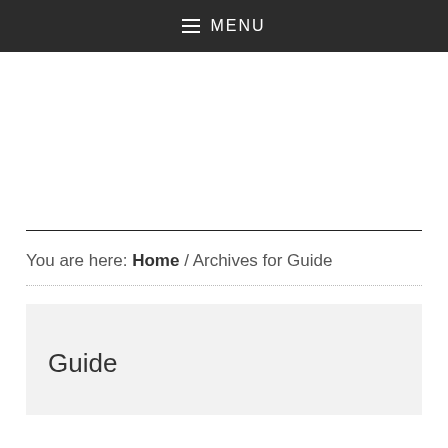MENU
You are here: Home / Archives for Guide
Guide